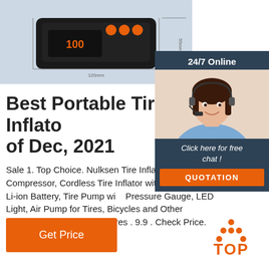[Figure (photo): Product photo of a black portable tire inflator/air compressor with orange buttons on a light blue background]
[Figure (photo): Chat widget with '24/7 Online' header, photo of smiling woman with headset, 'Click here for free chat!' text, and QUOTATION button]
Best Portable Tire Inflators of Dec, 2021
Sale 1. Top Choice. Nulksen Tire Inflator Portable Air Compressor, Cordless Tire Inflator with Rechargeable Li-ion Battery, Tire Pump with Pressure Gauge, LED Light, Air Pump for Tires, Bicycles and Other Inflatables . Nulksen. Features . 9.9 . Check Price. Product Highlights
[Figure (other): Get Price button in orange]
[Figure (logo): TOP logo with orange dot pattern above the text TOP]